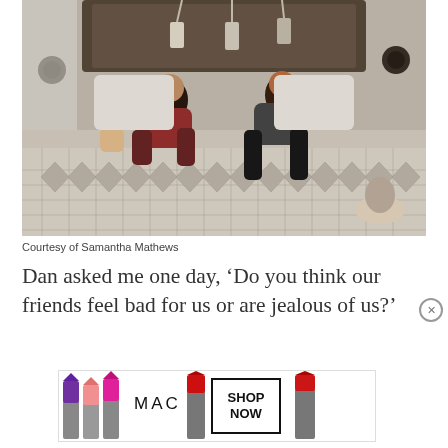[Figure (photo): A family photo of a woman and a man lying on a bed with two toddlers, all laughing and playing together in a cozy bedroom with wooden headboard and patterned bedspread.]
Courtesy of Samantha Mathews
Dan asked me one day, ‘Do you think our friends feel bad for us or are jealous of us?’
[Figure (advertisement): MAC Cosmetics advertisement showing colorful lipsticks (purple, pink, hot pink, red) and a SHOP NOW button.]